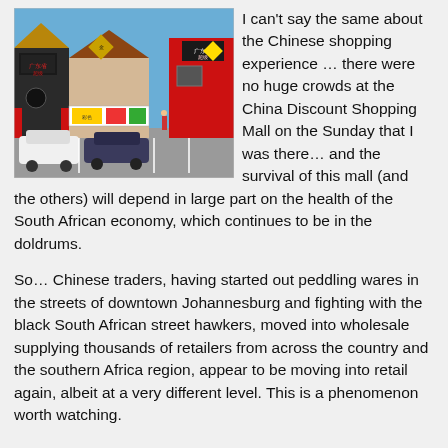[Figure (photo): Exterior of a Chinese discount shopping mall with red and beige buildings, Chinese signage in red and white, colorful banners, and cars parked in front under a blue sky.]
I can't say the same about the Chinese shopping experience … there were no huge crowds at the China Discount Shopping Mall on the Sunday that I was there… and the survival of this mall (and the others) will depend in large part on the health of the South African economy, which continues to be in the doldrums.
So… Chinese traders, having started out peddling wares in the streets of downtown Johannesburg and fighting with the black South African street hawkers, moved into wholesale supplying thousands of retailers from across the country and the southern Africa region, appear to be moving into retail again, albeit at a very different level. This is a phenomenon worth watching.